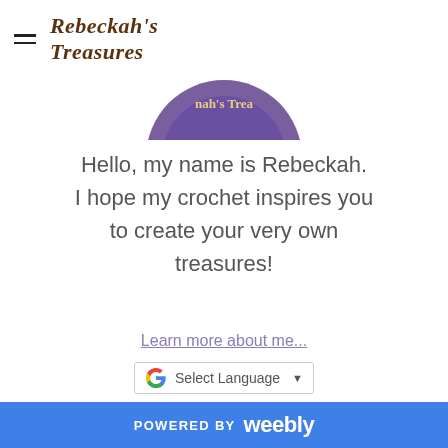Rebeckah's Treasures
[Figure (logo): Circular logo partially visible at top showing Rebeckah's Treasures text on a purple background]
Hello, my name is Rebeckah. I hope my crochet inspires you to create your very own treasures!
Learn more about me...
[Figure (screenshot): Google Translate widget with 'Select Language' dropdown]
[Figure (illustration): Banner image reading 'a Lady & a Gentleman' in purple script on a cream background, with 'by Rebeckah's Treasures' and 'Gentleman' text below alongside crochet figures]
POWERED BY weebly